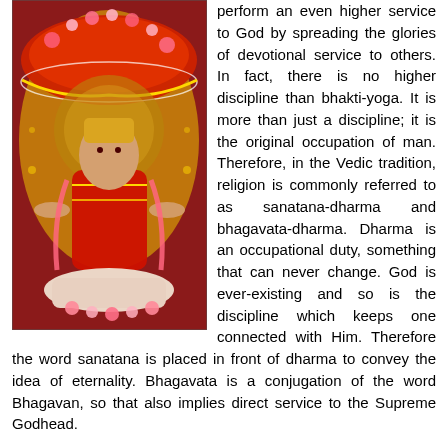[Figure (photo): A colorful Hindu deity statue or idol adorned with red and gold decorations, flower garlands, and ornate traditional clothing. The figure appears to be elaborately decorated with intricate embroidery and floral offerings.]
perform an even higher service to God by spreading the glories of devotional service to others. In fact, there is no higher discipline than bhakti-yoga. It is more than just a discipline; it is the original occupation of man. Therefore, in the Vedic tradition, religion is commonly referred to as sanatana-dharma and bhagavata-dharma. Dharma is an occupational duty, something that can never change. God is ever-existing and so is the discipline which keeps one connected with Him. Therefore the word sanatana is placed in front of dharma to convey the idea of eternality. Bhagavata is a conjugation of the word Bhagavan, so that also implies direct service to the Supreme Godhead.
How do we spread God's glories to others? In this age, no one wants to hear about God. If a politician merely mentions the word, people go into a tizzy. "Why are you imposing your...